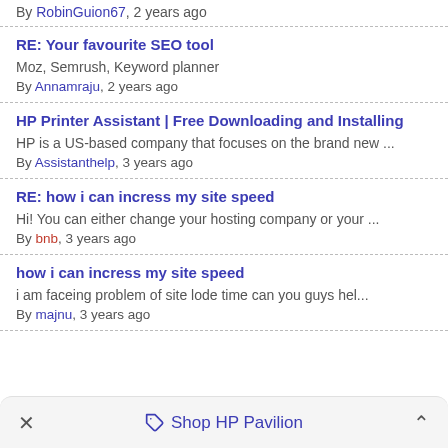By RobinGuion67, 2 years ago
RE: Your favourite SEO tool
Moz, Semrush, Keyword planner
By Annamraju, 2 years ago
HP Printer Assistant | Free Downloading and Installing
HP is a US-based company that focuses on the brand new ...
By Assistanthelp, 3 years ago
RE: how i can incress my site speed
Hi! You can either change your hosting company or your ...
By bnb, 3 years ago
how i can incress my site speed
i am faceing problem of site lode time can you guys hel...
By majnu, 3 years ago
Shop HP Pavilion